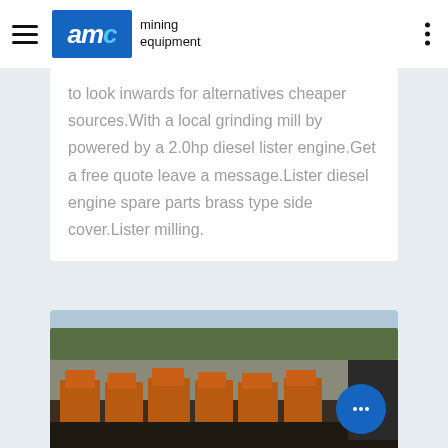AMC mining equipment
to look inwards for alternatives cheaper sources.With a local grinding mill by powered by a 2.0hp diesel lister engine.Get a free quote leave a message.Lister diesel engine spare parts brass type side cover.Lister milling.
[Figure (photo): Outdoor photo of mining equipment — orange-colored large industrial machines (likely crushers or screens) arranged in a row at a quarry site with rocky cliffs and trees in the background under a blue sky.]